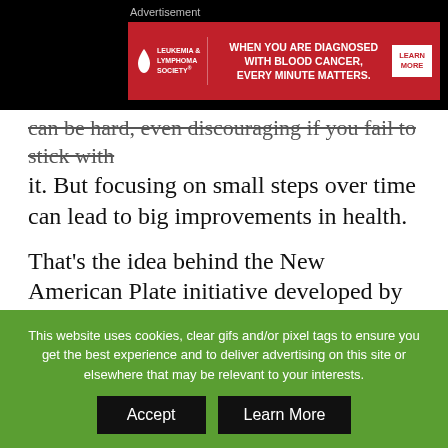[Figure (other): Advertisement banner for Leukemia & Lymphoma Society: 'WHEN YOU ARE DIAGNOSED WITH BLOOD CANCER, EVERY MINUTE MATTERS.' with a LEARN MORE button, on a red background with white drop logo.]
can be hard, even discouraging if you fail to stick with it. But focusing on small steps over time can lead to big improvements in health.
That's the idea behind the New American Plate initiative developed by the American Institute for Cancer Research (AICR), a nonprofit dedicated to public education about lifestyle, nutrition and cancer risk. Rather than focusing on an ideal diet for reducing cancer risk, AICR has developed a visual
This website uses cookies, clear gifs and/or pixel tags to ensure you get the best experience and to deliver advertising on this site or elsewhere that may be relevant to your interests.